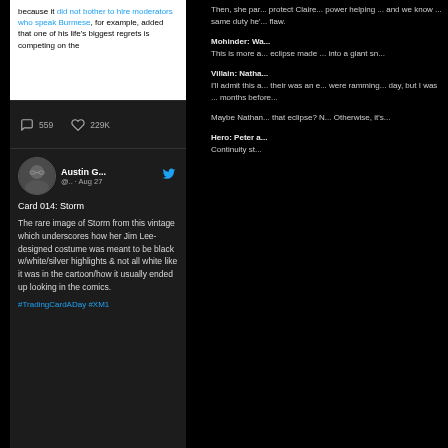[Figure (screenshot): Partial tweet visible at top: text reading 'because it did not bother to hire moderators who speak Burmese, for example, added that one of his life's biggest regrets is competing on the' with a hyperlink on 'did not bother to hire moderators who speak Burmese'. Below tweet action bar showing 559 replies and 229K likes.]
[Figure (screenshot): Tweet from Austin G... (@.. · Aug 27) with Twitter bird icon. Text: 'Card 014: Storm. The rare image of Storm from this vintage which underscores how her Jim Lee-designed costume was meant to be black w/white/silver highlights & not all white like it was in the cartoon/how it usually ended up looking in the comics.' Followed by a hashtag starting with #TradingCardADay #XM...]
Then, she par... protect Claire... power helping ... and we know ... same duty he'... flaw.
Mohinder: Wa... This is more a... eclipse made ... into a giant sn...
Villain: Natha... I'll admit this a... their was an e... were ramming... day, but I was ... months before...
Maybe Nathan... that eclipse? N... Otherwise, it's...
Hero: Peter a... Continuity st...